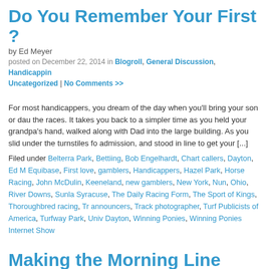Do You Remember Your First ?
by Ed Meyer
posted on December 22, 2014 in Blogroll, General Discussion, Handicapping, Uncategorized | No Comments >>
For most handicappers, you dream of the day when you'll bring your son or dau... the races. It takes you back to a simpler time as you held your grandpa's hand, walked along with Dad into the large building. As you slid under the turnstiles fo... admission, and stood in line to get your [...]
Filed under Belterra Park, Bettiing, Bob Engelhardt, Chart callers, Dayton, Ed M... Equibase, First love, gamblers, Handicappers, Hazel Park, Horse Racing, John... McDulin, Keeneland, new gamblers, New York, Nun, Ohio, River Downs, Sunla... Syracuse, The Daily Racing Form, The Sport of Kings, Thoroughbred racing, Tr... announcers, Track photographer, Turf Publicists of America, Turfway Park, Univ... Dayton, Winning Ponies, Winning Ponies Internet Show
Making the Morning Line
by Ed Meyer
posted on June 30, 2014 in Blogroll, General Discussion, Handicapping, Ho... Racing, WinningPonies.com | No Comments >>
Many handicappers have mixed feelings about the morning line. Some feel it's